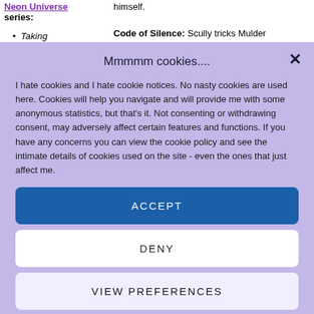Neon Universe series:
Taking [something]
himself.
Code of Silence: Scully tricks Mulder
Mmmmm cookies....
I hate cookies and I hate cookie notices. No nasty cookies are used here. Cookies will help you navigate and will provide me with some anonymous statistics, but that's it. Not consenting or withdrawing consent, may adversely affect certain features and functions. If you have any concerns you can view the cookie policy and see the intimate details of cookies used on the site - even the ones that just affect me.
ACCEPT
DENY
VIEW PREFERENCES
Cookie Policy  Privacy Policy